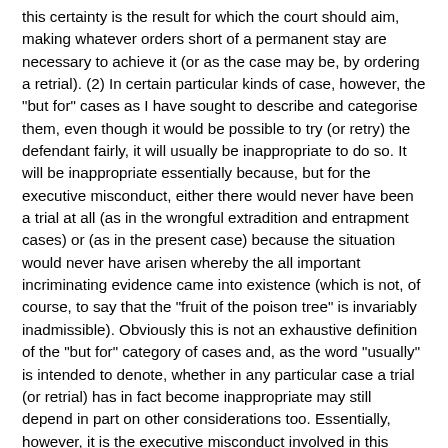this certainty is the result for which the court should aim, making whatever orders short of a permanent stay are necessary to achieve it (or as the case may be, by ordering a retrial). (2) In certain particular kinds of case, however, the "but for" cases as I have sought to describe and categorise them, even though it would be possible to try (or retry) the defendant fairly, it will usually be inappropriate to do so. It will be inappropriate essentially because, but for the executive misconduct, either there would never have been a trial at all (as in the wrongful extradition and entrapment cases) or (as in the present case) because the situation would never have arisen whereby the all important incriminating evidence came into existence (which is not, of course, to say that the "fruit of the poison tree" is invariably inadmissible). Obviously this is not an exhaustive definition of the "but for" category of cases and, as the word "usually" is intended to denote, whether in any particular case a trial (or retrial) has in fact become inappropriate may still depend in part on other considerations too. Essentially, however, it is the executive misconduct involved in this category of cases which, I suggest, most obviously threatens the integrity of the criminal justice system and where a trial (or retrial) would be most likely to represent an affront to the public conscience. (3) Exceptionally, even in cases of executive misconduct not within the "but for" category, it may be that the balance will tip in favour of a stay (or, as the case may